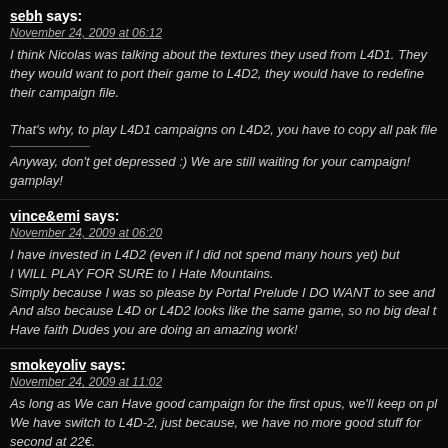sebh says:
November 24, 2009 at 06:12
I think Nicolas was talking about the textures they used from L4D1. They they would want to port their game to L4D2, they would have to redefine their campaign file.

That's why, to play L4D1 campaigns on L4D2, you have to copy all pak file

Anyway, don't get depressed :) We are still waiting for your campaign! gamplay!
vince&emi says:
November 24, 2009 at 06:20
I have invested in L4D2 (even if I did not spend many hours yet) but I WILL PLAY FOR SURE to I Hate Mountains.
Simply because I was so please by Portal Prelude I DO WANT to see and And also because L4D or L4D2 looks like the same game, so no big deal t Have faith Dudes you are doing an amazing work!
smokeyoliv says:
November 24, 2009 at 11:02
As long as We can Have good campaign for the first opus, we'll keep on pl We have switch to L4D-2, just because, we have no more good stuff for second at 22€.
So we are still waiting for U Nicolas.